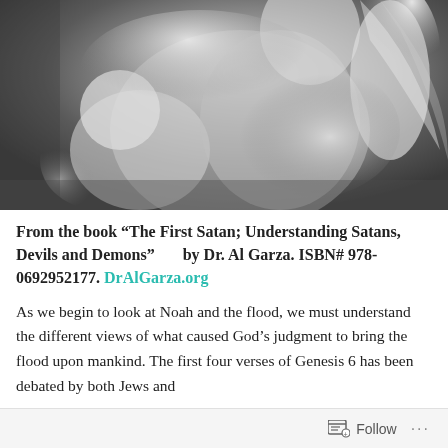[Figure (photo): Black and white photograph of classical marble sculpture showing figures, one larger figure holding or supporting a smaller one, close-up view]
From the book “The First Satan; Understanding Satans, Devils and Demons”       by Dr. Al Garza. ISBN# 978-0692952177. DrAlGarza.org
As we begin to look at Noah and the flood, we must understand the different views of what caused God’s judgment to bring the flood upon mankind. The first four verses of Genesis 6 has been debated by both Jews and
Follow …